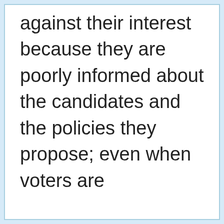against their interest because they are poorly informed about the candidates and the policies they propose; even when voters are